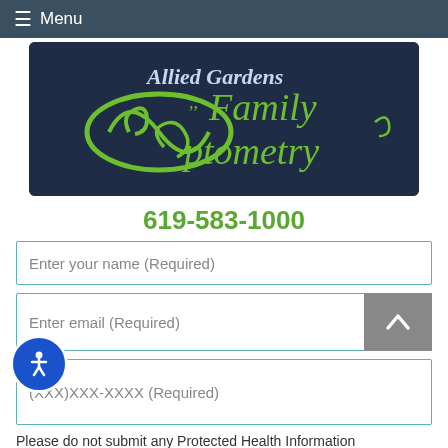≡ Menu
[Figure (logo): Allied Gardens Family Optometry logo — dark navy background with green decorative eye/swirl design and green text reading 'Allied Gardens Family Optometry']
619-583-1000
Enter your name (Required)
Enter email (Required)
(XXX)XXX-XXXX (Required)
Please do not submit any Protected Health Information